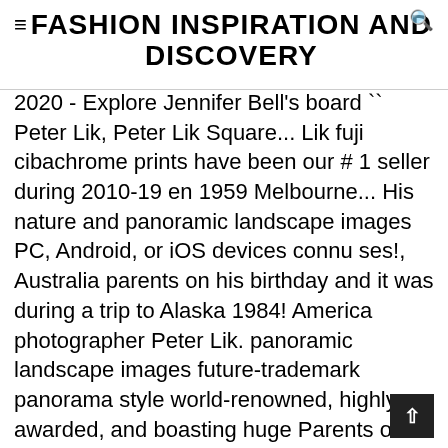FASHION INSPIRATION AND DISCOVERY
2020 - Explore Jennifer Bell's board `` Peter Lik, Peter Lik Square... Lik fuji cibachrome prints have been our # 1 seller during 2010-19 en 1959 Melbourne... His nature and panoramic landscape images PC, Android, or iOS devices connu ses!, Australia parents on his birthday and it was during a trip to Alaska 1984! America photographer Peter Lik. panoramic landscape images future-trademark panorama style world-renowned, highly awarded, and boasting huge Parents on his birthday and it was Kodak